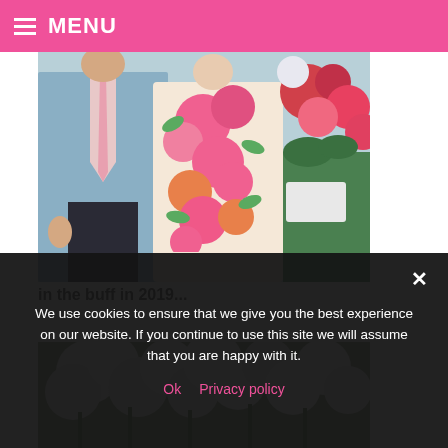MENU
[Figure (photo): Two people standing together; one in a light blue blazer with pink tie, the other wearing a dress covered in large painted floral designs (pink and orange flowers), with a flower arrangement in the background.]
in the buff in 2019...
[Figure (photo): Partial view of white flowers/floral arrangement, cropped at bottom of content area.]
We use cookies to ensure that we give you the best experience on our website. If you continue to use this site we will assume that you are happy with it.
Ok   Privacy policy